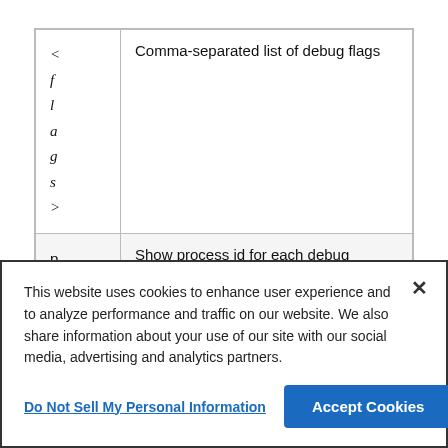| <flags> | Comma-separated list of debug flags |
| p | Show process id for each debug message. |
This website uses cookies to enhance user experience and to analyze performance and traffic on our website. We also share information about your use of our site with our social media, advertising and analytics partners.
Do Not Sell My Personal Information
Accept Cookies